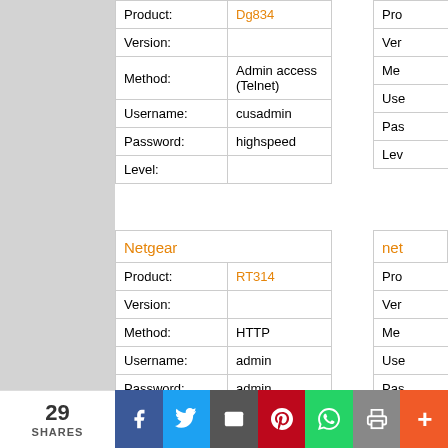| Field | Value |
| --- | --- |
| Product: | Dg834 |
| Version: |  |
| Method: | Admin access (Telnet) |
| Username: | cusadmin |
| Password: | highspeed |
| Level: |  |
|  | Netgear |  |
| --- | --- | --- |
| Product: | RT314 |
| Version: |  |
| Method: | HTTP |
| Username: | admin |
| Password: | admin |
| Level: | Admin |
29 SHARES | Facebook | Twitter | Email | Pinterest | WhatsApp | Print | More